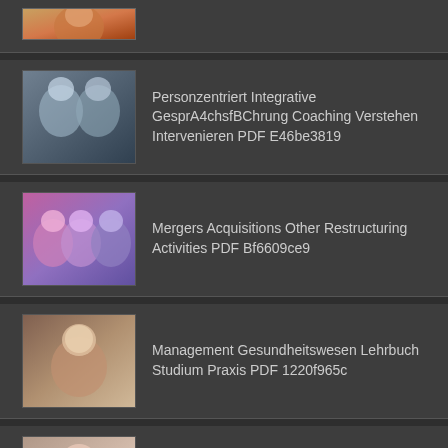[Figure (photo): Partial thumbnail of a woman with golden/warm tones]
Personzentriert Integrative GesprA4chsfBChrung Coaching Verstehen Intervenieren PDF E46be3819
Mergers Acquisitions Other Restructuring Activities PDF Bf6609ce9
Management Gesundheitswesen Lehrbuch Studium Praxis PDF 1220f965c
Looking Forward Back Proceedings Developments PDF 794ebbb42
Get Point Sharpen Message Matter PDF Da3972bcc